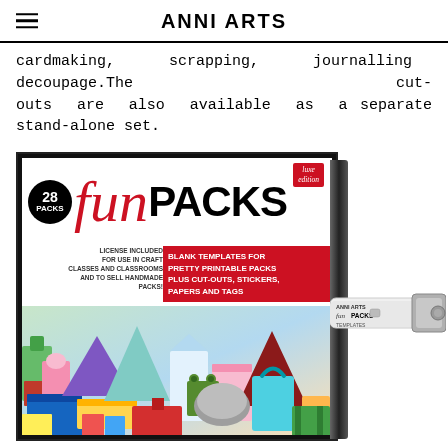ANNI ARTS
cardmaking, scrapping, journalling and decoupage.The cut-outs are also available as a separate stand-alone set.
[Figure (photo): DVD case and USB drive for 'fun PACKS luxe edition' by Anni Arts — 28 packs, blank templates for pretty printable packs plus cut-outs, stickers, papers and tags. License included for use in craft classes and classrooms and to sell handmade packs. Shows a colorful assortment of paper box and bag shapes on the front cover, plus a white USB drive labeled 'Anni Arts funPACKS Templates'.]